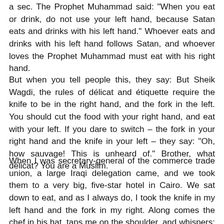a sec. The Prophet Muhammad said: "When you eat or drink, do not use your left hand, because Satan eats and drinks with his left hand." Whoever eats and drinks with his left hand follows Satan, and whoever loves the Prophet Muhammad must eat with his right hand.
But when you tell people this, they say: But Sheik Wagdi, the rules of délicat and étiquette require the knife to be in the right hand, and the fork in the left. You should cut the food with your right hand, and eat with your left. If you dare to switch – the fork in your right hand and the knife in your left – they say: "Oh, how sauvage! This is unheard of." Brother, what délicat? You are a Muslim.
When I was secretary-general of the commerce trade union, a large Iraqi delegation came, and we took them to a very big, five-star hotel in Cairo. We sat down to eat, and as I always do, I took the knife in my left hand and the fork in my right. Along comes the chef in his hat, taps me on the shoulder, and whispers: "Pardon me..." I said to him: "I am a Muslim!" So he said: "I'm sorry, I apologize." I take pride in my Islam – or is Islam something disgusting, which I should